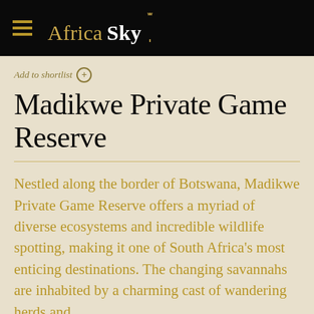Africa Sky
Add to shortlist +
Madikwe Private Game Reserve
Nestled along the border of Botswana, Madikwe Private Game Reserve offers a myriad of diverse ecosystems and incredible wildlife spotting, making it one of South Africa's most enticing destinations. The changing savannahs are inhabited by a charming cast of wandering herds and